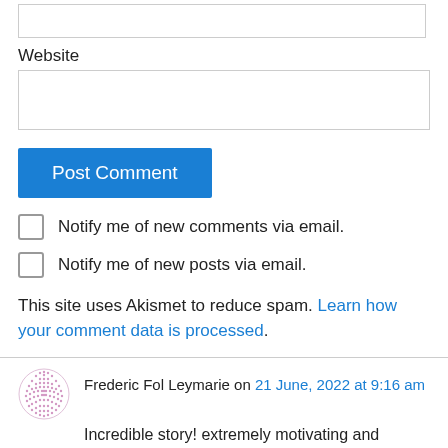[input box top]
Website
[website input box]
Post Comment
Notify me of new comments via email.
Notify me of new posts via email.
This site uses Akismet to reduce spam. Learn how your comment data is processed.
Frederic Fol Leymarie on 21 June, 2022 at 9:16 am
Incredible story! extremely motivating and